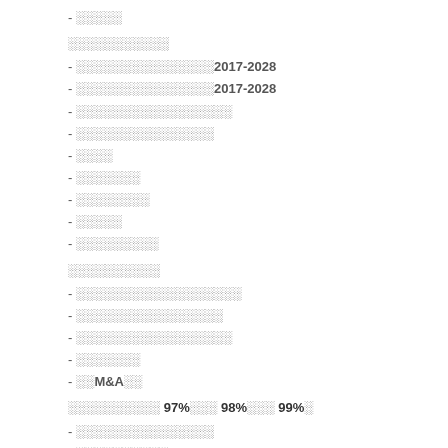- ░░░░░
░░░░░░░░░░░
- ░░░░░░░░░░░░░░░2017-2028
- ░░░░░░░░░░░░░░░2017-2028
- ░░░░░░░░░░░░░░░░░
- ░░░░░░░░░░░░░░░
- ░░░░
- ░░░░░░░
- ░░░░░░░░
- ░░░░░
- ░░░░░░░░░
░░░░░░░░░░
- ░░░░░░░░░░░░░░░░░░
- ░░░░░░░░░░░░░░░░
- ░░░░░░░░░░░░░░░░░
- ░░░░░░░
- ░░M&A░░
░░░░░░░░░░ 97%░░░ 98%░░░ 99%░
- ░░░░░░░░░░░░░░░
- ░░░░░░░░░░